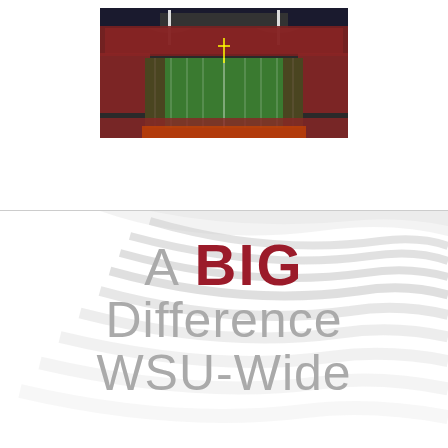[Figure (photo): Aerial view of a crowded football stadium at night with green field and red-clad stands, WSU Martin Stadium]
A BIG Difference WSU-Wide